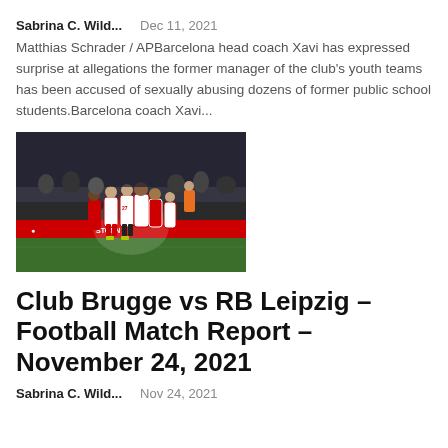Sabrina C. Wild...   Dec 11, 2021
Matthias Schrader / APBarcelona head coach Xavi has expressed surprise at allegations the former manager of the club's youth teams has been accused of sexually abusing dozens of former public school students.Barcelona coach Xavi...
[Figure (photo): Soccer players in red and white uniforms celebrating on a field, Champions League match]
Club Brugge vs RB Leipzig – Football Match Report – November 24, 2021
Sabrina C. Wild...   Nov 24, 2021